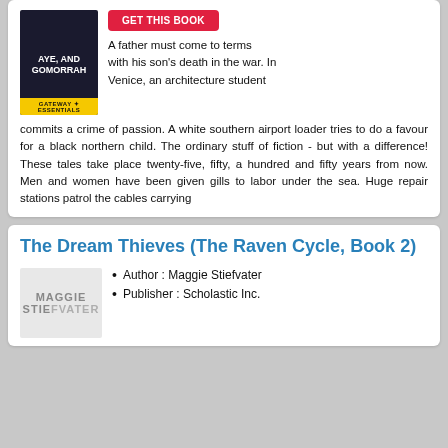[Figure (illustration): Book cover showing 'Aye, and Gomorrah' with dark background, white text, and Gateway Essentials yellow bar at bottom]
[Figure (other): Red button labeled 'GET THIS BOOK']
A father must come to terms with his son's death in the war. In Venice, an architecture student commits a crime of passion. A white southern airport loader tries to do a favour for a black northern child. The ordinary stuff of fiction - but with a difference! These tales take place twenty-five, fifty, a hundred and fifty years from now. Men and women have been given gills to labor under the sea. Huge repair stations patrol the cables carrying
The Dream Thieves (The Raven Cycle, Book 2)
[Figure (illustration): Book cover for The Dream Thieves by Maggie Stiefvater showing author name text]
Author : Maggie Stiefvater
Publisher : Scholastic Inc.